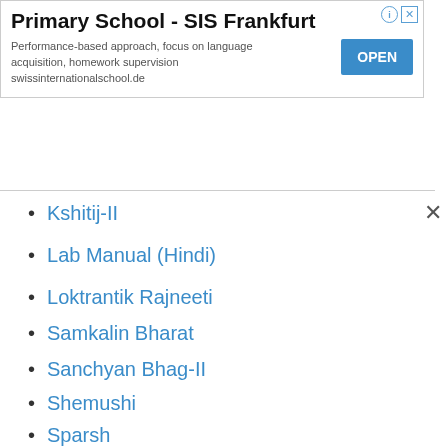[Figure (screenshot): Advertisement banner for Primary School - SIS Frankfurt with OPEN button]
Kshitij-II
Lab Manual (Hindi)
Loktrantik Rajneeti
Samkalin Bharat
Sanchyan Bhag-II
Shemushi
Sparsh
Vigyan
□□□□□□□□□